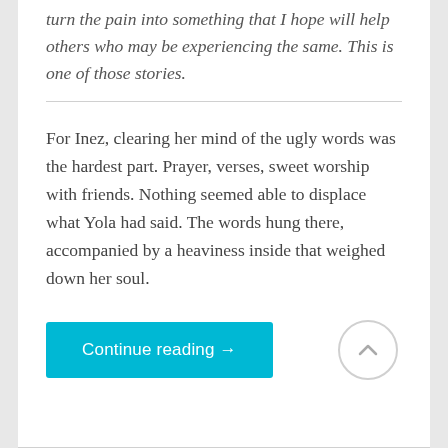turn the pain into something that I hope will help others who may be experiencing the same. This is one of those stories.
For Inez, clearing her mind of the ugly words was the hardest part. Prayer, verses, sweet worship with friends. Nothing seemed able to displace what Yola had said. The words hung there, accompanied by a heaviness inside that weighed down her soul.
Continue reading →